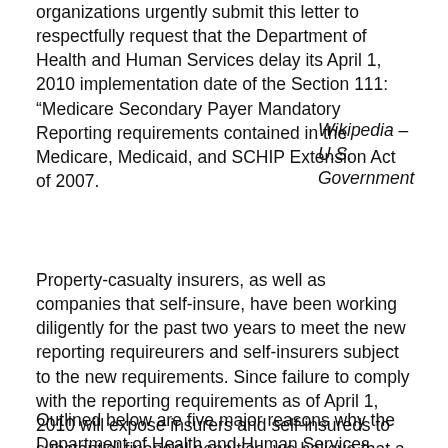organizations urgently submit this letter to respectfully request that the Department of Health and Human Services delay its April 1, 2010 implementation date of the Section 111: “Medicare Secondary Payer Mandatory Reporting requirements contained in the Medicare, Medicaid, and SCHIP Extension Act of 2007.
Wikipedia – U.S. Government
Property-casualty insurers, as well as companies that self-insure, have been working diligently for the past two years to meet the new reporting requireurers and self-insurers subject to the new requirements. Since failure to comply with the reporting requirements as of April 1, 2010 will expose insurers and self-insureds to substantial financial penalties, we believe that a more realistic implementation date is not only appropriate but also imperative.
Outlined below are five major reasons why the Department of Health and Human Services should